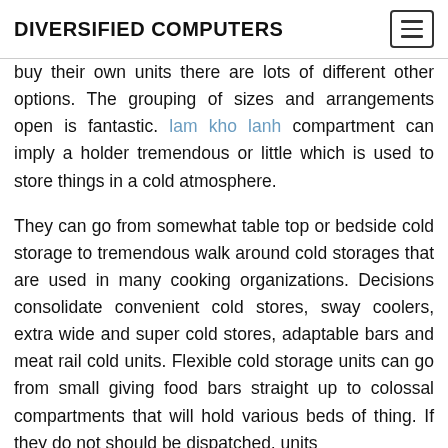DIVERSIFIED COMPUTERS
buy their own units there are lots of different other options. The grouping of sizes and arrangements open is fantastic. lam kho lanh compartment can imply a holder tremendous or little which is used to store things in a cold atmosphere.
They can go from somewhat table top or bedside cold storage to tremendous walk around cold storages that are used in many cooking organizations. Decisions consolidate convenient cold stores, sway coolers, extra wide and super cold stores, adaptable bars and meat rail cold units. Flexible cold storage units can go from small giving food bars straight up to colossal compartments that will hold various beds of thing. If they do not should be dispatched, units